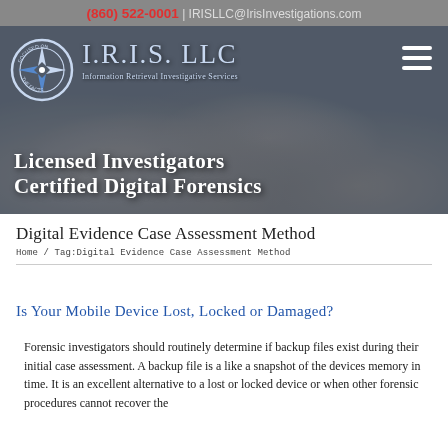(860) 522-0001 | IRISLLC@IrisInvestigations.com
[Figure (logo): I.R.I.S. LLC website header with compass logo, company name 'I.R.I.S. LLC Information Retrieval Investigative Services', hamburger menu icon, and hero banner with crowd background showing text 'Licensed Investigators Certified Digital Forensics']
Digital Evidence Case Assessment Method
Home / Tag:Digital Evidence Case Assessment Method
Is Your Mobile Device Lost, Locked or Damaged?
Forensic investigators should routinely determine if backup files exist during their initial case assessment. A backup file is a like a snapshot of the devices memory in time. It is an excellent alternative to a lost or locked device or when other forensic procedures cannot recover the